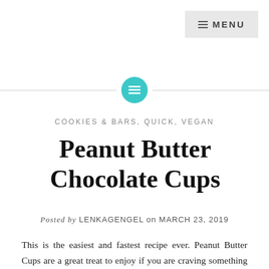≡ MENU
[Figure (illustration): Horizontal divider line with a teal circular icon in the center containing a white lines/list symbol]
COOKIES & BARS, QUICK, VEGAN
Peanut Butter Chocolate Cups
Posted by LENKAGENGEL on MARCH 23, 2019
This is the easiest and fastest recipe ever. Peanut Butter Cups are a great treat to enjoy if you are craving something small during the day. Or simply don't feel